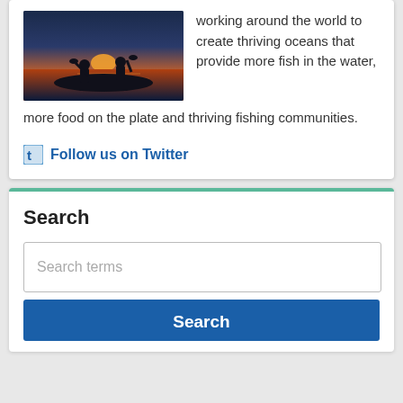[Figure (photo): Two people silhouetted on a boat at sunset on the ocean]
working around the world to create thriving oceans that provide more fish in the water, more food on the plate and thriving fishing communities.
Follow us on Twitter
Search
Search terms
Search